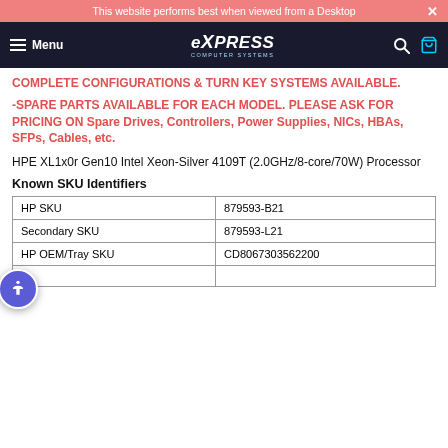This website performs best when viewed from a Desktop
[Figure (logo): Express Computer Systems navigation bar with hamburger menu, logo, search icon, and cart icon]
COMPLETE CONFIGURATIONS & TURN KEY SYSTEMS AVAILABLE.
-SPARE PARTS AVAILABLE FOR EACH MODEL. PLEASE ASK FOR PRICING ON Spare Drives, Controllers, Power Supplies, NICs, HBAs, SFPs, Cables, etc.
HPE XL1x0r Gen10 Intel Xeon-Silver 4109T (2.0GHz/8-core/70W) Processor
Known SKU Identifiers
|  |  |
| --- | --- |
| HP SKU | 879593-B21 |
| Secondary SKU | 879593-L21 |
| HP OEM/Tray SKU | CD8067303562200 |